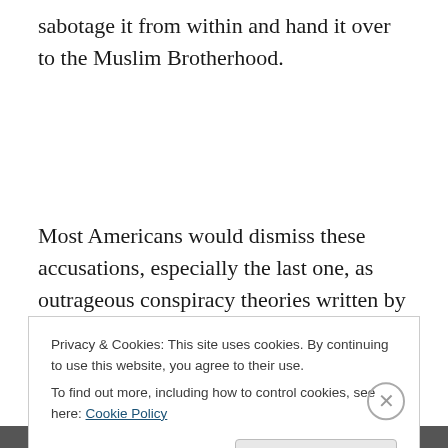sabotage it from within and hand it over to the Muslim Brotherhood.
Most Americans would dismiss these accusations, especially the last one, as outrageous conspiracy theories written by loonies on their blogs. Yet American Muslim public servants are facing these charges from sitting members of Congress. The sad reality is that it has been
Privacy & Cookies: This site uses cookies. By continuing to use this website, you agree to their use.
To find out more, including how to control cookies, see here: Cookie Policy